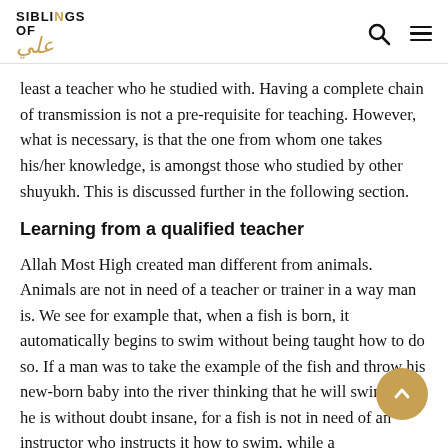SIBLINGS OF ALI — navigation header with search and menu icons
least a teacher who he studied with. Having a complete chain of transmission is not a pre-requisite for teaching. However, what is necessary, is that the one from whom one takes his/her knowledge, is amongst those who studied by other shuyukh. This is discussed further in the following section.
Learning from a qualified teacher
Allah Most High created man different from animals. Animals are not in need of a teacher or trainer in a way man is. We see for example that, when a fish is born, it automatically begins to swim without being taught how to do so. If a man was to take the example of the fish and throw his new-born baby into the river thinking that he will swim, then he is without doubt insane, for a fish is not in need of an instructor who instructs it how to swim, while a